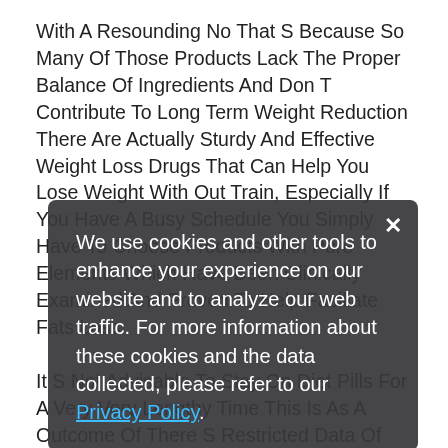With A Resounding No That S Because So Many Of Those Products Lack The Proper Balance Of Ingredients And Don T Contribute To Long Term Weight Reduction There Are Actually Sturdy And Effective Weight Loss Drugs That Can Help You Lose Weight With Out Train, Especially If You Have A Busy Schedule You Simply Have To Choose Products With Pure Elements Which Have Been Clinically Examined And Proven To Help Faciliate Fats Loss.
It S Not Advisable To Stay On Diet Pills For A Very Very Lengthy Time This Is As A Outcome Of There S Restricted Data Of The Health Results Of Taking Weight Reduction Tablets On A Long Term Basis The Best And Chrissy Metz Weight Loss Most Secure Method To Use Weight Loss Dietary Supplements Is Keto Weight Loss To Take Them Every Day As Directed For A Brief Time Frame Weight Loss Pills, Tablets, Dietary Supplements Can Be Found By Way
We use cookies and other tools to enhance your experience on our website and to analyze our web traffic. For more information about these cookies and the data collected, please refer to our Privacy Policy.